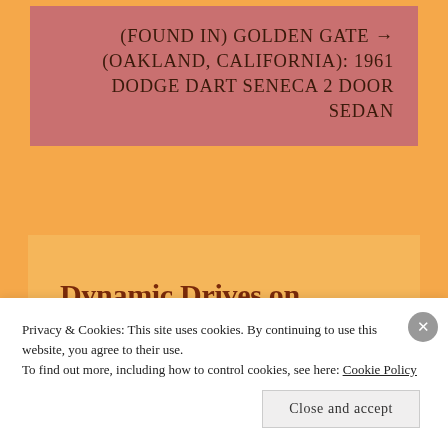(FOUND IN) GOLDEN GATE → (OAKLAND, CALIFORNIA): 1961 DODGE DART SENECA 2 DOOR SEDAN
Dynamic Drives on Facebook
Privacy & Cookies: This site uses cookies. By continuing to use this website, you agree to their use.
To find out more, including how to control cookies, see here: Cookie Policy
Close and accept